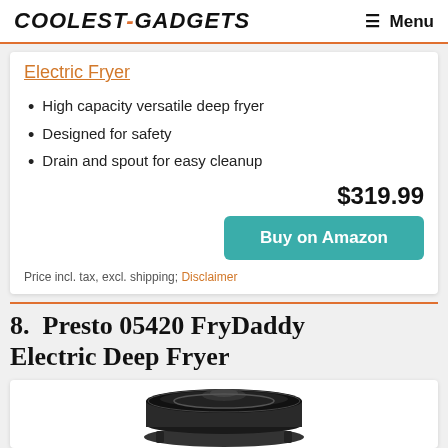COOLEST-GADGETS    Menu
Electric Fryer
High capacity versatile deep fryer
Designed for safety
Drain and spout for easy cleanup
$319.99
Buy on Amazon
Price incl. tax, excl. shipping; Disclaimer
8.  Presto 05420 FryDaddy Electric Deep Fryer
[Figure (photo): Photo of Presto 05420 FryDaddy Electric Deep Fryer, circular black electric fryer viewed from above/side]